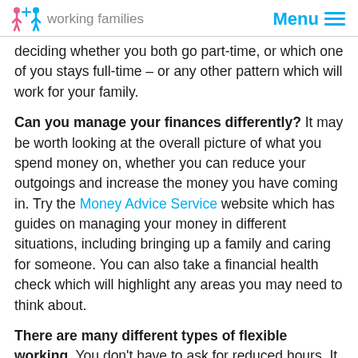working families   Menu
deciding whether you both go part-time, or which one of you stays full-time – or any other pattern which will work for your family.
Can you manage your finances differently? It may be worth looking at the overall picture of what you spend money on, whether you can reduce your outgoings and increase the money you have coming in. Try the Money Advice Service website which has guides on managing your money in different situations, including bringing up a family and caring for someone. You can also take a financial health check which will highlight any areas you may need to think about.
There are many different types of flexible working. You don't have to ask for reduced hours. It could be that you want a compressed working week (fewer, longer days), a job share, finishing earlier to